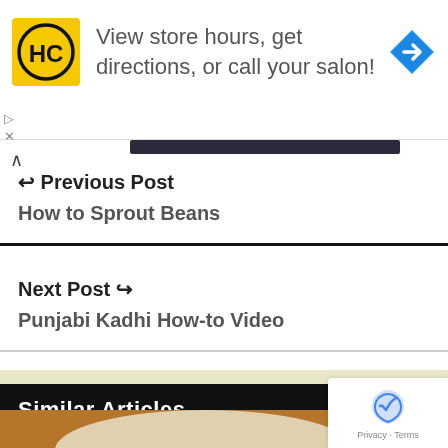[Figure (infographic): Advertisement banner for HC (Hair Club?) showing logo, text 'View store hours, get directions, or call your salon!' and a blue navigation arrow icon]
Previous Post
How to Sprout Beans
Next Post
Punjabi Kadhi How-to Video
Similar Articles
[Figure (photo): Partial photo of a white bowl on a dark surface]